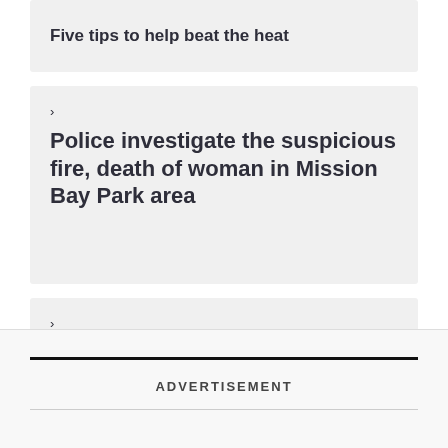Five tips to help beat the heat
Police investigate the suspicious fire, death of woman in Mission Bay Park area
Four people arrested at Escondido DUI checkpoint
ADVERTISEMENT